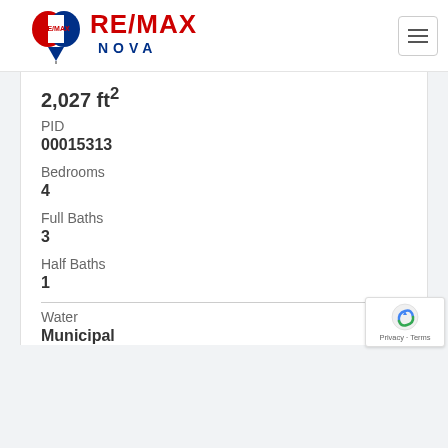RE/MAX NOVA
2,027 ft²
PID
00015313
Bedrooms
4
Full Baths
3
Half Baths
1
Water
Municipal